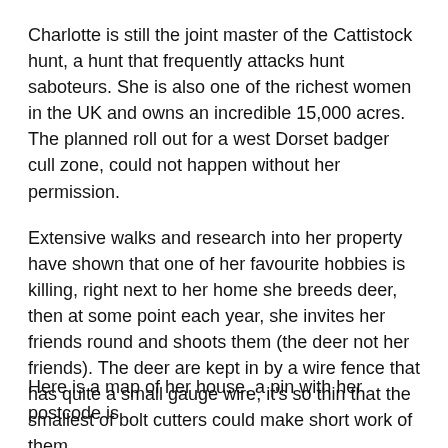Charlotte is still the joint master of the Cattistock hunt, a hunt that frequently attacks hunt saboteurs. She is also one of the richest women in the UK and owns an incredible 15,000 acres. The planned roll out for a west Dorset badger cull zone, could not happen without her permission.
Extensive walks and research into her property have shown that one of her favourite hobbies is killing, right next to her home she breeds deer, then at some point each year, she invites her friends round and shoots them (the deer not her friends). The deer are kept in by a wire fence that has quite a small gauge wire, it's so thin that the smallest of bolt cutters could make short work of them.
Here is a map of her house, a pin with her postcode is